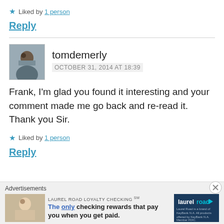★ Liked by 1 person
Reply
tomdemerly
OCTOBER 31, 2014 AT 18:39
Frank, I'm glad you found it interesting and your comment made me go back and re-read it. Thank you Sir.
★ Liked by 1 person
Reply
[Figure (photo): User avatar photo of tomdemerly]
Advertisements
LAUREL ROAD LOYALTY CHECKING℠
The only checking rewards that pay you when you get paid.